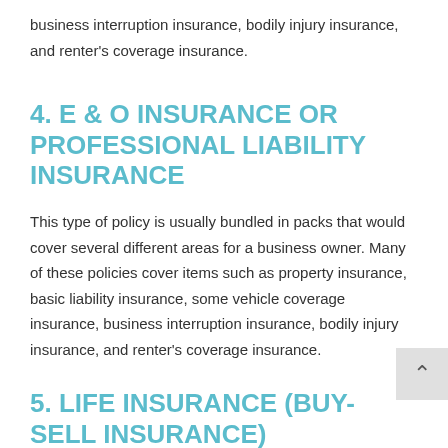business interruption insurance, bodily injury insurance, and renter's coverage insurance.
4. E & O INSURANCE OR PROFESSIONAL LIABILITY INSURANCE
This type of policy is usually bundled in packs that would cover several different areas for a business owner. Many of these policies cover items such as property insurance, basic liability insurance, some vehicle coverage insurance, business interruption insurance, bodily injury insurance, and renter's coverage insurance.
5. LIFE INSURANCE (BUY-SELL INSURANCE)